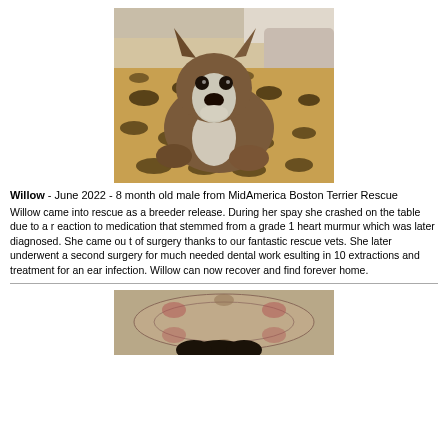[Figure (photo): Boston Terrier dog lying on a leopard-print blanket in a car seat, looking at camera]
Willow - June 2022 - 8 month old male from MidAmerica Boston Terrier Rescue
Willow came into rescue as a breeder release.  During her spay she crashed on the table due to a reaction to medication that stemmed from a grade 1 heart murmur which was later diagnosed.  She came out of surgery thanks to our fantastic rescue vets. She later underwent a second surgery for much needed dental work esulting in 10 extractions and treatment for an ear infection.  Willow can now recover and find forever home.
[Figure (photo): Second dog photo partially visible at bottom of page, on a decorative rug]